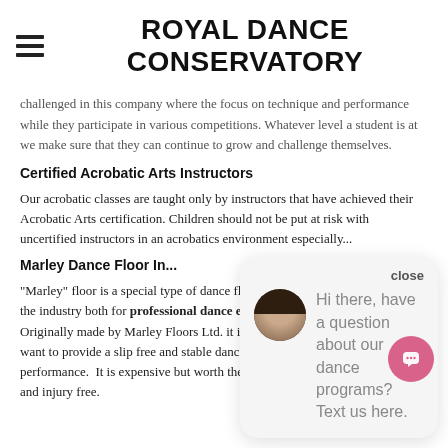ROYAL DANCE CONSERVATORY
challenged in this company where the focus on technique and performance while they participate in various competitions. Whatever level a student is at we make sure that they can continue to grow and challenge themselves.
Certified Acrobatic Arts Instructors
Our acrobatic classes are taught only by instructors that have achieved their Acrobatic Arts certification. Children should not be put at risk with uncertified instructors especially in an acrobatics environment especially...
Marley Dance Floor In...
"Marley" floor is a sp... industry both for professional dance ensembles and dance studios. Originally made by Marley Floors Ltd. it is now the standard for studios that want to provide a slip free and stable dance surface that allows for safe performance. It is expensive but worth the cost to make the experience safe and injury free.